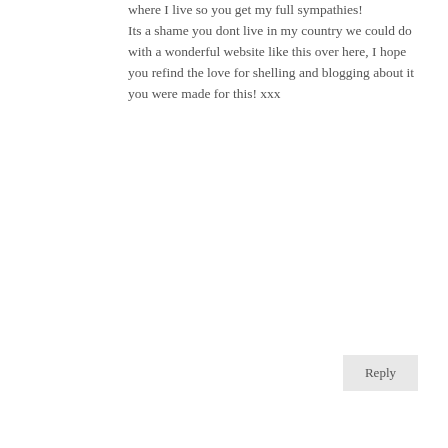where I live so you get my full sympathies! Its a shame you dont live in my country we could do with a wonderful website like this over here, I hope you refind the love for shelling and blogging about it you were made for this! xxx
Reply
Chris on May 26, 2018 at 1:24 am
On a recent trip to Puget Sound my husband and I collected about 3 dozen sand dollars. They're so beautiful and it was a very special day walking the beaches to collect them. I'd like to do some kind of project for my wall with them and don't know where to begin looking for photos. So many posts on Pinterest show them painted. They are beautiful just as